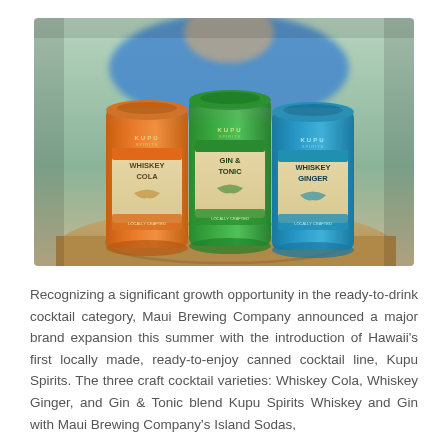[Figure (photo): Three colorful canned cocktails from Kupu Spirits lined up on a wooden surface: an orange can (Whiskey Cola), a green can (Gin & Tonic), and a teal/blue can (Whiskey Ginger). A person in a blue shirt is visible in the background.]
Recognizing a significant growth opportunity in the ready-to-drink cocktail category, Maui Brewing Company announced a major brand expansion this summer with the introduction of Hawaii's first locally made, ready-to-enjoy canned cocktail line, Kupu Spirits. The three craft cocktail varieties: Whiskey Cola, Whiskey Ginger, and Gin & Tonic blend Kupu Spirits Whiskey and Gin with Maui Brewing Company's Island Sodas,